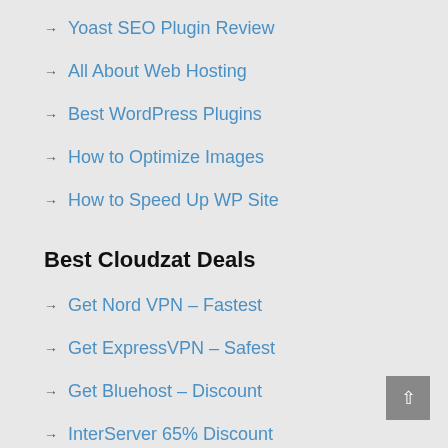→ Yoast SEO Plugin Review
→ All About Web Hosting
→ Best WordPress Plugins
→ How to Optimize Images
→ How to Speed Up WP Site
Best Cloudzat Deals
→ Get Nord VPN – Fastest
→ Get ExpressVPN – Safest
→ Get Bluehost – Discount
→ InterServer 65% Discount